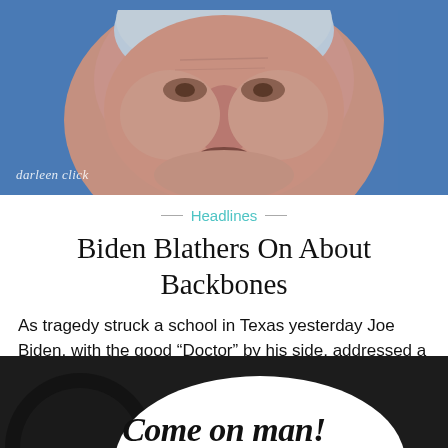[Figure (photo): Close-up photo of an elderly man with grey hair against a blue background, watermark 'darleen click' in bottom left]
— Headlines —
Biden Blathers On About Backbones
As tragedy struck a school in Texas yesterday Joe Biden, with the good “Doctor” by his side, addressed a mourning nation.
[Figure (photo): Dark/black image with white oval shape containing italic text 'Come on man!']